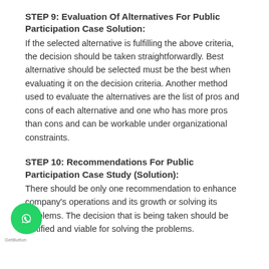STEP 9: Evaluation Of Alternatives For Public Participation Case Solution:
If the selected alternative is fulfilling the above criteria, the decision should be taken straightforwardly. Best alternative should be selected must be the best when evaluating it on the decision criteria. Another method used to evaluate the alternatives are the list of pros and cons of each alternative and one who has more pros than cons and can be workable under organizational constraints.
STEP 10: Recommendations For Public Participation Case Study (Solution):
There should be only one recommendation to enhance company's operations and its growth or solving its problems. The decision that is being taken should be justified and viable for solving the problems.